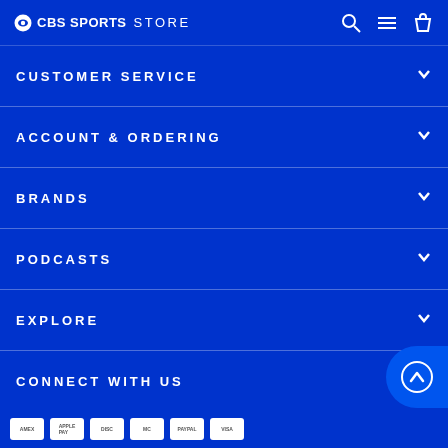CBS SPORTS STORE
CUSTOMER SERVICE
ACCOUNT & ORDERING
BRANDS
PODCASTS
EXPLORE
CONNECT WITH US